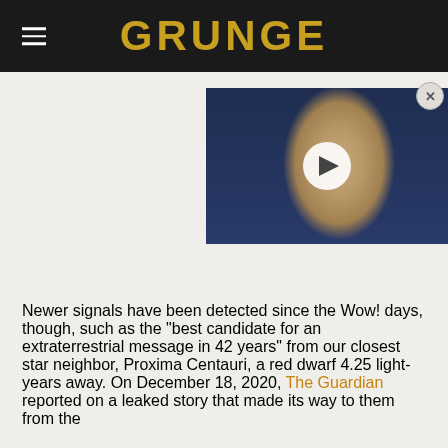GRUNGE
[Figure (photo): Video thumbnail showing a bald man in a suit against a blue digital background, with a white play button overlay in the center. A close (X) button appears in the top right corner.]
Newer signals have been detected since the Wow! days, though, such as the "best candidate for an extraterrestrial message in 42 years" from our closest star neighbor, Proxima Centauri, a red dwarf 4.25 light-years away. On December 18, 2020, The Guardian reported on a leaked story that made its way to them from the